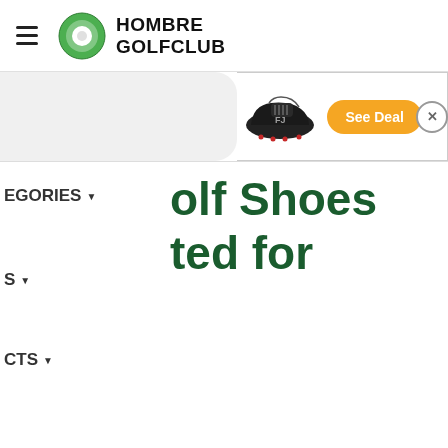HOMBRE GOLFCLUB
[Figure (screenshot): Advertisement banner showing a golf shoe image and an orange 'See Deal' button with a close (X) button]
EGORIES ▼
olf Shoes
ted for
S ▼
CTS ▼